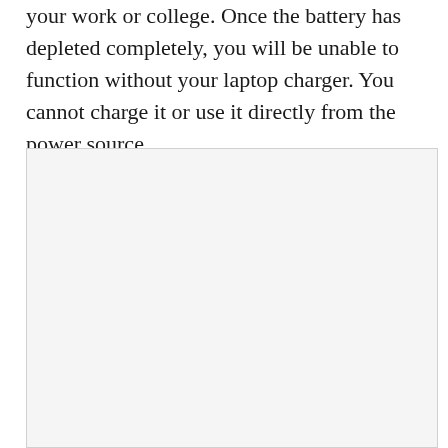your work or college. Once the battery has depleted completely, you will be unable to function without your laptop charger. You cannot charge it or use it directly from the power source.
[Figure (photo): A large light gray rectangular image placeholder occupying the lower portion of the page.]